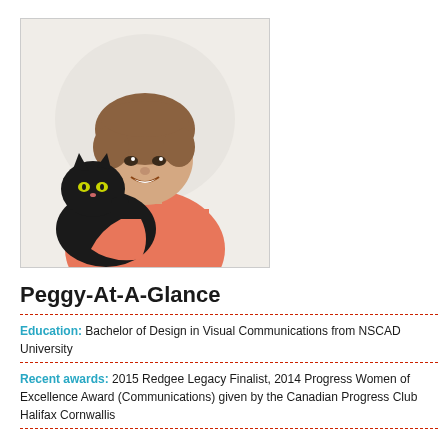[Figure (photo): A woman with short brown hair wearing a coral/salmon top, smiling and holding a black cat with yellow-green eyes against a white background.]
Peggy-At-A-Glance
Education: Bachelor of Design in Visual Communications from NSCAD University
Recent awards: 2015 Redgee Legacy Finalist, 2014 Progress Women of Excellence Award (Communications) given by the Canadian Progress Club Halifax Cornwallis